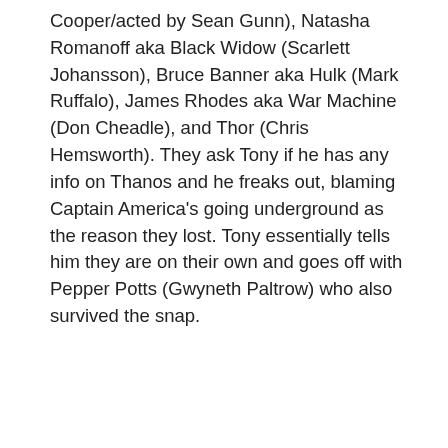Cooper/acted by Sean Gunn), Natasha Romanoff aka Black Widow (Scarlett Johansson), Bruce Banner aka Hulk (Mark Ruffalo), James Rhodes aka War Machine (Don Cheadle), and Thor (Chris Hemsworth). They ask Tony if he has any info on Thanos and he freaks out, blaming Captain America's going underground as the reason they lost. Tony essentially tells him they are on their own and goes off with Pepper Potts (Gwyneth Paltrow) who also survived the snap.